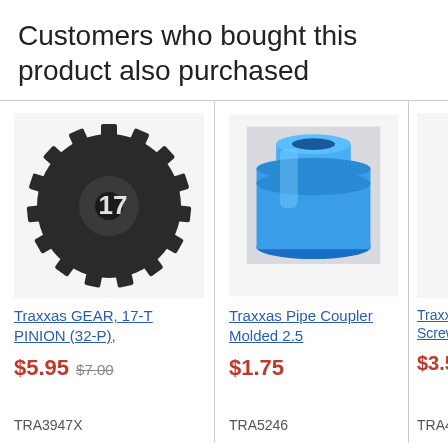Customers who bought this product also purchased
[Figure (photo): Black plastic pinion gear with 17 teeth labeled '17', Traxxas product]
Traxxas GEAR, 17-T PINION (32-P),
$5.95 $7.00
TRA3947X
[Figure (photo): Blue molded plastic pipe coupler, cylindrical shape, Traxxas product]
Traxxas Pipe Coupler Molded 2.5
$1.75
TRA5246
Traxxa Screw
$3.5
TRA49